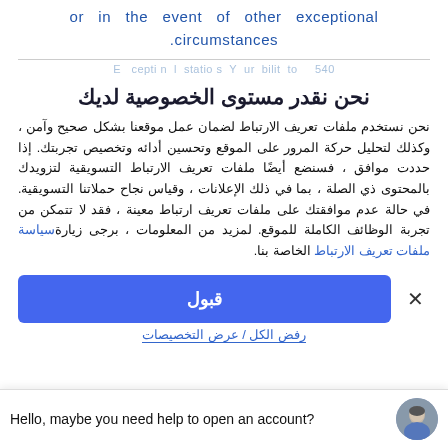or in the event of other exceptional circumstances.
Exceptional circumstances... 540
نحن نقدر مستوى الخصوصية لديك
نحن نستخدم ملفات تعريف الارتباط لضمان عمل موقعنا بشكل صحيح وآمن ، وكذلك لتحليل حركة المرور على الموقع وتحسين أدائه وتخصيص تجربتك. إذا حددت موافق ، فسنضع أيضًا ملفات تعريف الارتباط التسويقية لتزويدك بالمحتوى ذي الصلة ، بما في ذلك الإعلانات ، وقياس نجاح حملاتنا التسويقية. في حالة عدم موافقتك على ملفات تعريف ارتباط معينة ، فقد لا تتمكن من تجربة الوظائف الكاملة للموقع. لمزيد من المعلومات ، برجى زيارة سياسة ملفات تعريف الارتباط الخاصة بنا.
قبول
Hello, maybe you need help to open an account?
رفض الكل / عرض التخصيصات